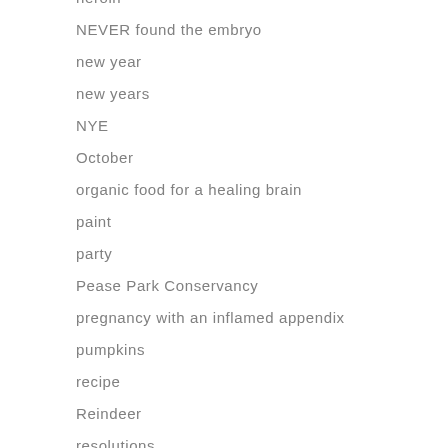heroin
NEVER found the embryo
new year
new years
NYE
October
organic food for a healing brain
paint
party
Pease Park Conservancy
pregnancy with an inflamed appendix
pumpkins
recipe
Reindeer
resolutions
road trip